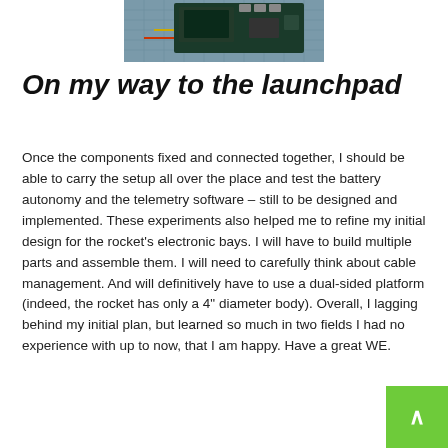[Figure (photo): Partial photo of an electronic circuit board/launchpad hardware on a gridded mat, viewed from above]
On my way to the launchpad
Once the components fixed and connected together, I should be able to carry the setup all over the place and test the battery autonomy and the telemetry software – still to be designed and implemented. These experiments also helped me to refine my initial design for the rocket's electronic bays. I will have to build multiple parts and assemble them. I will need to carefully think about cable management. And will definitively have to use a dual-sided platform (indeed, the rocket has only a 4" diameter body). Overall, I lagging behind my initial plan, but learned so much in two fields I had no experience with up to now, that I am happy. Have a great WE.